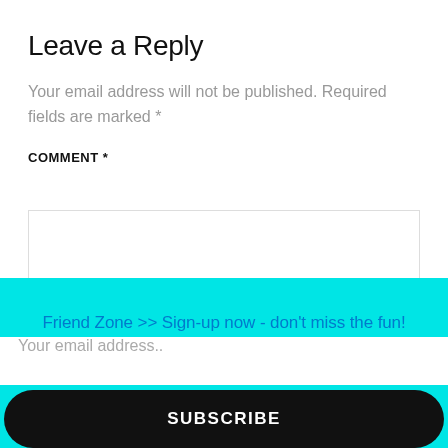Leave a Reply
Your email address will not be published. Required fields are marked *
COMMENT *
[Figure (screenshot): Comment text area input box with a cyan resize handle in bottom right corner showing a down arrow]
Friend Zone >> Sign-up now - don't miss the fun!
Your email address..
SUBSCRIBE